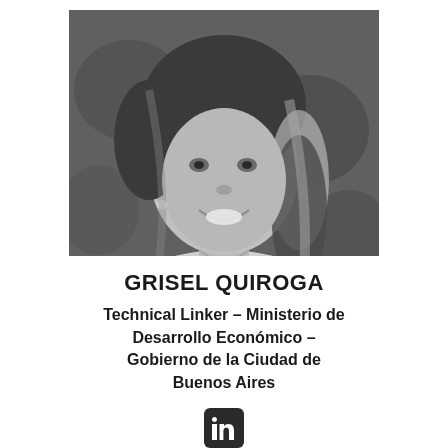[Figure (photo): Black and white headshot photo of Grisel Quiroga, a woman with long hair, smiling.]
GRISEL QUIROGA
Technical Linker – Ministerio de Desarrollo Económico – Gobierno de la Ciudad de Buenos Aires
[Figure (logo): LinkedIn logo icon — white 'in' text on dark square with rounded corners.]